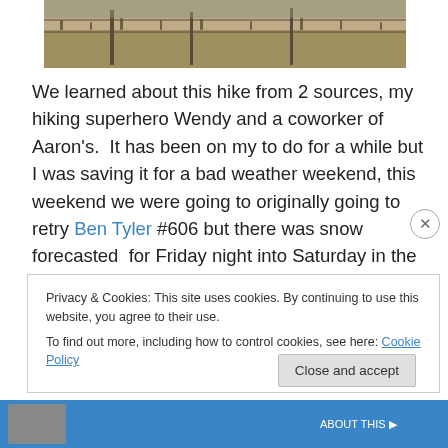[Figure (photo): A partial view of a landscape photo showing dry brush/grassland terrain with a fence post, cropped to show only the upper portion of the image.]
We learned about this hike from 2 sources, my hiking superhero Wendy and a coworker of Aaron's.  It has been on my to do for a while but I was saving it for a bad weather weekend, this weekend we were going to originally going to retry Ben Tyler #606 but there was snow forecasted  for Friday night into Saturday in the nearest town which meant 11,700 was undoable.  Apex Park is pretty close to home and really easy to get to off of I-70.  We started out pretty exhausted as our bed is on the outs
Privacy & Cookies: This site uses cookies. By continuing to use this website, you agree to their use.
To find out more, including how to control cookies, see here: Cookie Policy
[Figure (screenshot): Bottom bar with thumbnail image and blue background, showing partial page navigation.]